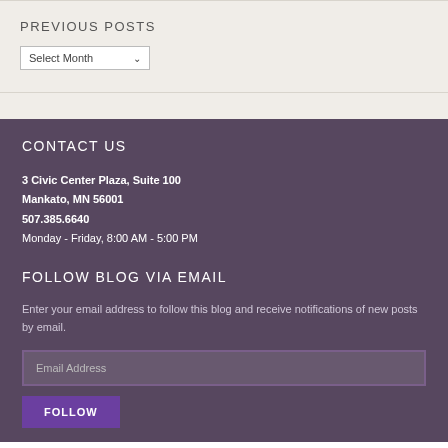PREVIOUS POSTS
Select Month
CONTACT US
3 Civic Center Plaza, Suite 100
Mankato, MN 56001
507.385.6640
Monday - Friday, 8:00 AM - 5:00 PM
FOLLOW BLOG VIA EMAIL
Enter your email address to follow this blog and receive notifications of new posts by email.
Email Address
FOLLOW